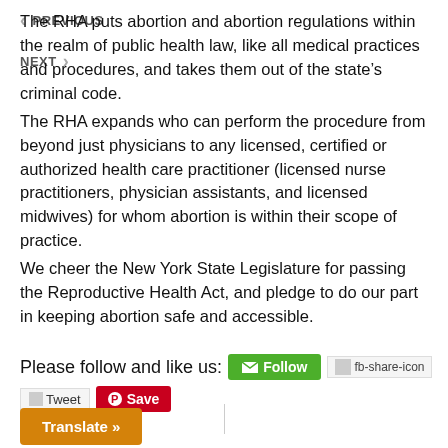The RHA puts abortion and abortion regulations within the realm of public health law, like all medical practices and procedures, and takes them out of the state's criminal code.
The RHA expands who can perform the procedure from beyond just physicians to any licensed, certified or authorized health care practitioner (licensed nurse practitioners, physician assistants, and licensed midwives) for whom abortion is within their scope of practice.
We cheer the New York State Legislature for passing the Reproductive Health Act, and pledge to do our part in keeping abortion safe and accessible.
Please follow and like us:
[Figure (infographic): Social sharing buttons: Follow (green email button), fb-share-icon (Facebook share), Tweet button, Save (Pinterest red button)]
PREVIOUS
NEXT
Translate »